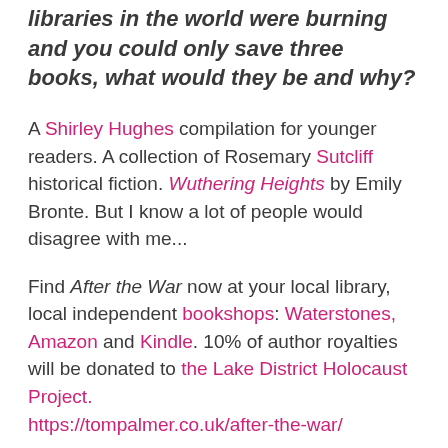libraries in the world were burning and you could only save three books, what would they be and why?
A Shirley Hughes compilation for younger readers. A collection of Rosemary Sutcliff historical fiction. Wuthering Heights by Emily Bronte. But I know a lot of people would disagree with me...
Find After the War now at your local library, local independent bookshops: Waterstones, Amazon and Kindle. 10% of author royalties will be donated to the Lake District Holocaust Project. https://tompalmer.co.uk/after-the-war/